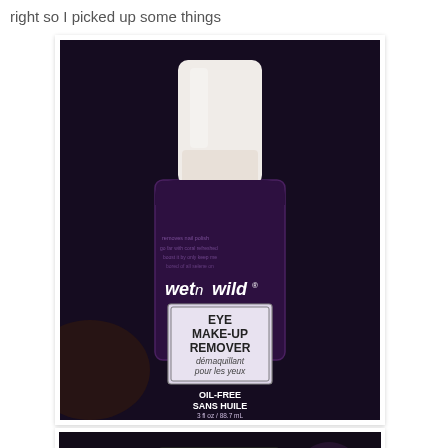right so I picked up some things
[Figure (photo): A bottle of wet n wild Eye Make-Up Remover, oil-free, 3 fl oz / 88.7 mL, in a dark purple glass bottle with a white cap, on a dark background.]
[Figure (photo): Partial view of a pink blush compact with a black label reading 'Pixilated Silk / Soie chinée' and a red 'NEW' tag sticker, on a dark background.]